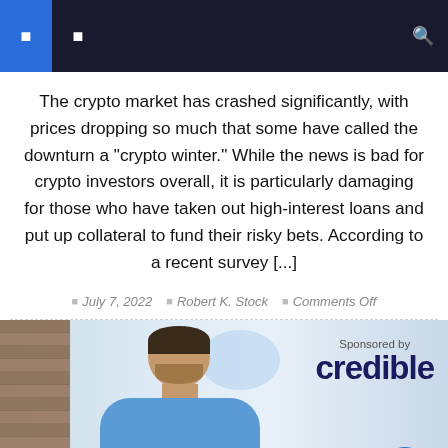Navigation bar with icons
The crypto market has crashed significantly, with prices dropping so much that some have called the downturn a "crypto winter." While the news is bad for crypto investors overall, it is particularly damaging for those who have taken out high-interest loans and put up collateral to fund their risky bets. According to a recent survey [...]
July 7, 2022  Robert K. Stock  Comments Off
[Figure (photo): Man in blue shirt looking worried, sitting with chin resting on hands. Sponsored by Credible logo visible on right side.]